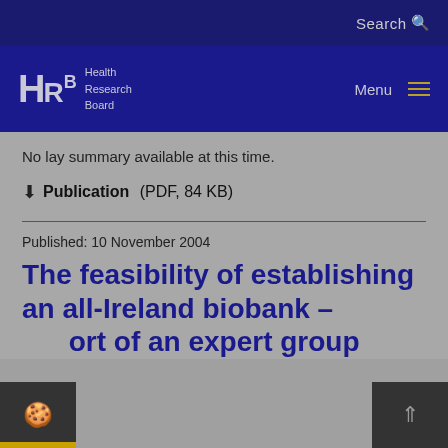Search
HRB Health Research Board  Menu
No lay summary available at this time.
Publication (PDF, 84 KB)
Published: 10 November 2004
The feasibility of establishing an all-Ireland biobank - report of an expert group